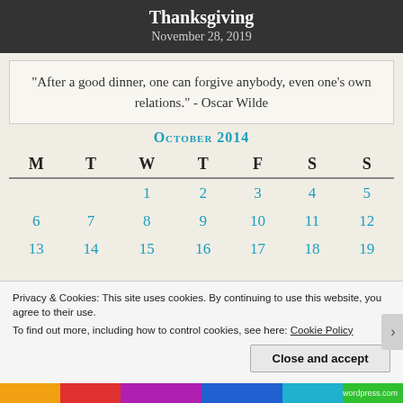Thanksgiving
November 28, 2019
"After a good dinner, one can forgive anybody, even one's own relations." - Oscar Wilde
October 2014
| M | T | W | T | F | S | S |
| --- | --- | --- | --- | --- | --- | --- |
|  |  | 1 | 2 | 3 | 4 | 5 |
| 6 | 7 | 8 | 9 | 10 | 11 | 12 |
| 13 | 14 | 15 | 16 | 17 | 18 | 19 |
Privacy & Cookies: This site uses cookies. By continuing to use this website, you agree to their use.
To find out more, including how to control cookies, see here: Cookie Policy
Close and accept